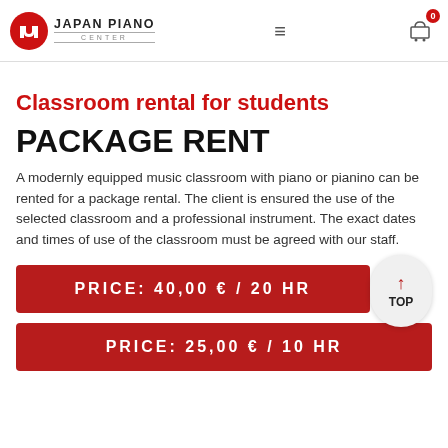Japan Piano Center — navigation header with logo, hamburger menu, and cart icon
Classroom rental for students
PACKAGE RENT
A modernly equipped music classroom with piano or pianino can be rented for a package rental. The client is ensured the use of the selected classroom and a professional instrument. The exact dates and times of use of the classroom must be agreed with our staff.
PRICE: 40,00 € / 20 HR
PRICE: 25,00 € / 10 HR